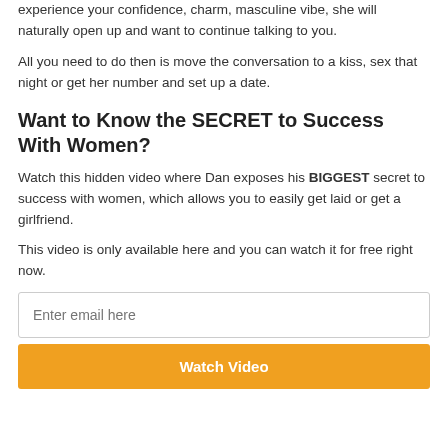experience your confidence, charm, masculine vibe, she will naturally open up and want to continue talking to you.
All you need to do then is move the conversation to a kiss, sex that night or get her number and set up a date.
Want to Know the SECRET to Success With Women?
Watch this hidden video where Dan exposes his BIGGEST secret to success with women, which allows you to easily get laid or get a girlfriend.
This video is only available here and you can watch it for free right now.
Enter email here
Watch Video